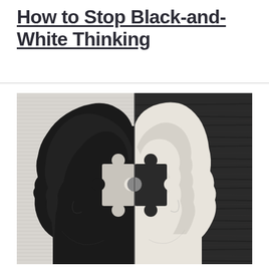How to Stop Black-and-White Thinking
[Figure (illustration): A split black-and-white conceptual image showing two side-profile human head silhouettes made of crumpled paper — the left half is black on a light striped background, the right half is white on a dark wood-grain background. Both halves have interlocking puzzle piece cutouts in the center, symbolizing binary/dualistic thinking.]